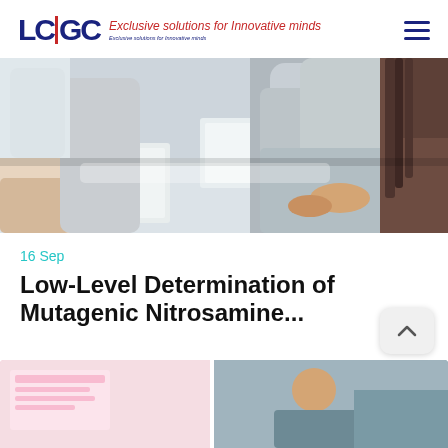LCGC — Exclusive solutions for Innovative minds
[Figure (photo): People sitting around a conference table collaborating, viewed from the side; one person in a grey long-sleeve top is prominent in the foreground.]
16 Sep
Low-Level Determination of Mutagenic Nitrosamine...
[Figure (photo): Thumbnail image with pink/light background, partially visible at bottom-left.]
[Figure (photo): Thumbnail image showing a person in a professional setting, partially visible at bottom-right.]